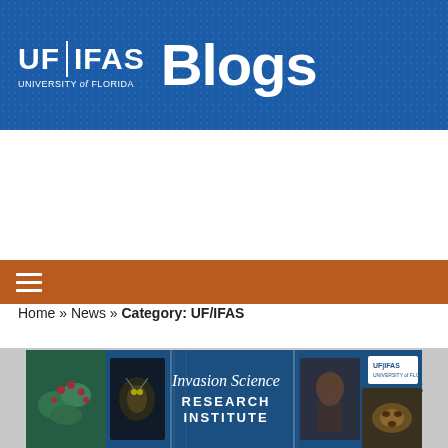[Figure (logo): UF/IFAS Blogs header with blue dotted background, UF|IFAS logo and 'Blogs' text in white]
[Figure (other): Orange navigation bar with white hamburger menu icon]
[Figure (other): Gray banner with 'UF/IFAS NEWS' text in blue on right side]
Home » News » Category: UF/IFAS
[Figure (photo): Invasion Science Research Institute banner image with plant photos, insect photos, researcher photo, and UF|IFAS logo on blue background]